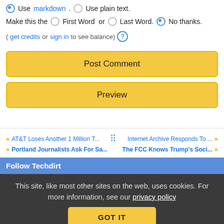Use markdown. Use plain text.
Make this the First Word or Last Word. No thanks.
(get credits or sign in to see balance) ?
Post Comment
Preview
« AT&T Loses Another 1 Million T... :: Internet Archive Responds To ... »
« Portland Journalists Ask For Sa... The FCC Knows Trump's Soci... »
Follow Techdirt
This site, like most other sites on the web, uses cookies. For more information, see our privacy policy
GOT IT